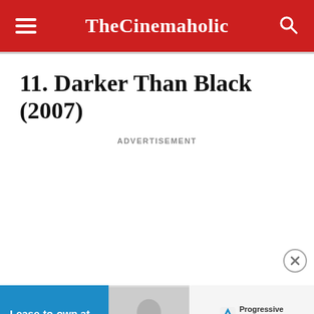TheCinemaholic
11. Darker Than Black (2007)
ADVERTISEMENT
[Figure (photo): Advertisement banner for Progressive Leasing showing a person using a gaming device, with blue panel reading 'Lease-to-own at over 30,000 retail locations.' and Apply Now button]